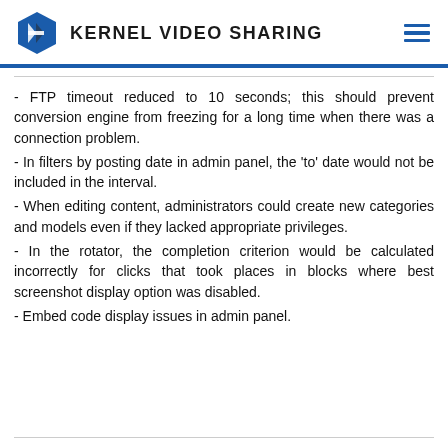KERNEL VIDEO SHARING
- FTP timeout reduced to 10 seconds; this should prevent conversion engine from freezing for a long time when there was a connection problem.
- In filters by posting date in admin panel, the 'to' date would not be included in the interval.
- When editing content, administrators could create new categories and models even if they lacked appropriate privileges.
- In the rotator, the completion criterion would be calculated incorrectly for clicks that took places in blocks where best screenshot display option was disabled.
- Embed code display issues in admin panel.